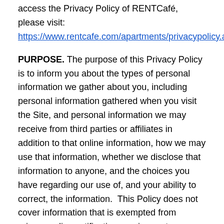access the Privacy Policy of RENTCafé, please visit: https://www.rentcafe.com/apartments/privacypolicy.asp
PURPOSE. The purpose of this Privacy Policy is to inform you about the types of personal information we gather about you, including personal information gathered when you visit the Site, and personal information we may receive from third parties or affiliates in addition to that online information, how we may use that information, whether we disclose that information to anyone, and the choices you have regarding our use of, and your ability to correct, the information.  This Policy does not cover information that is exempted from privacy policy notification requirements, including information about employees, contractors, job applicants and information processed exclusively in the context of a business person acting in a business capacity.